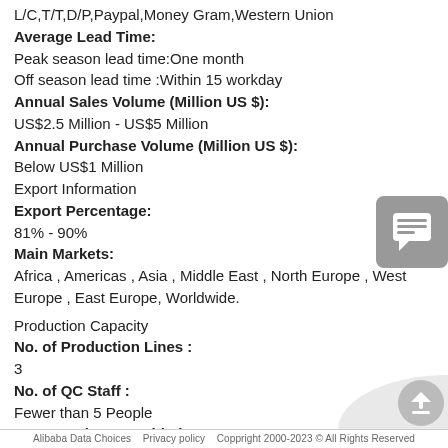L/C,T/T,D/P,Paypal,Money Gram,Western Union
Average Lead Time:
Peak season lead time:One month
Off season lead time :Within 15 workday
Annual Sales Volume (Million US $):
US$2.5 Million - US$5 Million
Annual Purchase Volume (Million US $):
Below US$1 Million
Export Information
Export Percentage:
81% - 90%
Main Markets:
Africa , Americas , Asia , Middle East , North Europe , West Europe , East Europe, Worldwide.
Production Capacity
No. of Production Lines :
3
No. of QC Staff :
Fewer than 5 People
OEM Services Provided :
Yes
Factory Size (Sq.meters) :
2,000-3,000 square meters
Factory Location :
IBI Incubation Center,Jin Feng District Yinchuan, Ningxia, China
Alibaba Data Choices   Privacy policy   Coppright 2000-2023 © All Rights Reserved